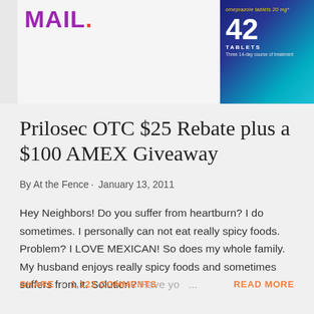[Figure (screenshot): Top portion showing partial blog header image with 'MAIL.' text on left side and Prilosec OTC medication box showing '42 TABLETS Three 14-day course of treatment' on right side]
Prilosec OTC $25 Rebate plus a $100 AMEX Giveaway
By At the Fence · January 13, 2011
Hey Neighbors! Do you suffer from heartburn? I do sometimes. I personally can not eat really spicy foods. Problem? I LOVE MEXICAN! So does my whole family. My husband enjoys really spicy foods and sometimes suffers from it. Solution? Have yo ...
SHARE   1,122 COMMENTS   READ MORE